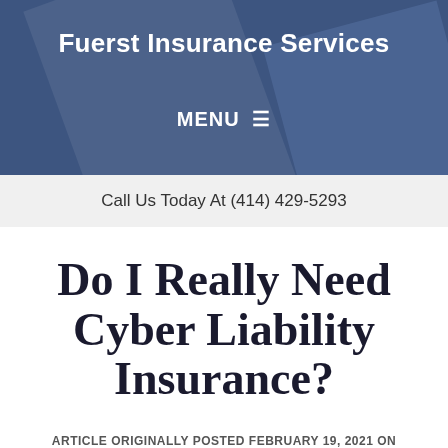Fuerst Insurance Services
MENU ≡
Call Us Today At (414) 429-5293
Do I Really Need Cyber Liability Insurance?
ARTICLE ORIGINALLY POSTED FEBRUARY 19, 2021 ON